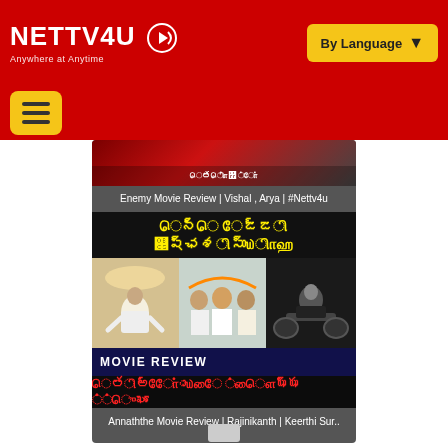[Figure (screenshot): NETTV4U website header with red background, logo on left and 'By Language' dropdown button on right]
[Figure (screenshot): Yellow hamburger menu button on red background bar]
Enemy Movie Review | Vishal , Arya | #Nettv4u
[Figure (screenshot): Annaththe movie review thumbnail with Tamil text header in yellow on black, movie stills of Rajinikanth and others, MOVIE REVIEW banner, and Tamil text at bottom]
Annaththe Movie Review | Rajinikanth | Keerthi Sur..